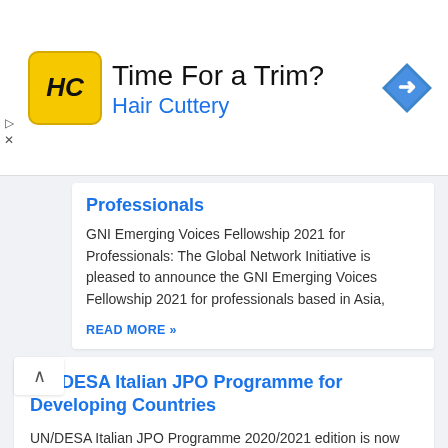[Figure (other): Hair Cuttery advertisement banner with logo, tagline 'Time For a Trim?', brand name 'Hair Cuttery', and navigation arrow icon]
Professionals
GNI Emerging Voices Fellowship 2021 for Professionals: The Global Network Initiative is pleased to announce the GNI Emerging Voices Fellowship 2021 for professionals based in Asia,
READ MORE »
UN/DESA Italian JPO Programme for Developing Countries
UN/DESA Italian JPO Programme 2020/2021 edition is now open for application. Candidates from Developing Countries and Italy are welcomed to apply to participate in the Junior Professional Officer programme 2021.